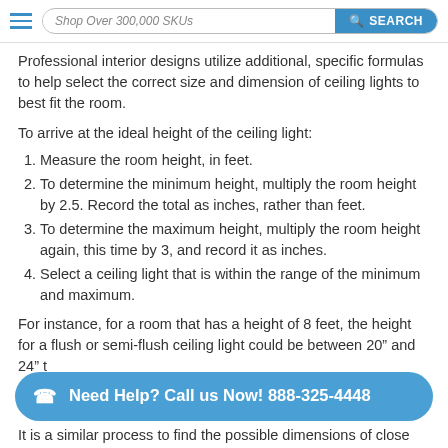Shop Over 300,000 SKUs  SEARCH
Professional interior designs utilize additional, specific formulas to help select the correct size and dimension of ceiling lights to best fit the room.
To arrive at the ideal height of the ceiling light:
1. Measure the room height, in feet.
2. To determine the minimum height, multiply the room height by 2.5. Record the total as inches, rather than feet.
3. To determine the maximum height, multiply the room height again, this time by 3, and record it as inches.
4. Select a ceiling light that is within the range of the minimum and maximum.
For instance, for a room that has a height of 8 feet, the height for a flush or semi-flush ceiling light could be between 20” and 24” t
It is a similar process to find the possible dimensions of close